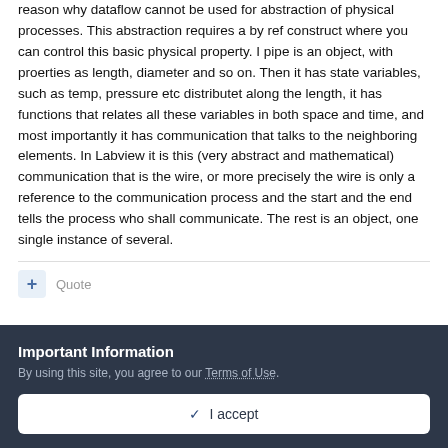reason why dataflow cannot be used for abstraction of physical processes. This abstraction requires a by ref construct where you can control this basic physical property. I pipe is an object, with proerties as length, diameter and so on. Then it has state variables, such as temp, pressure etc distributet along the length, it has functions that relates all these variables in both space and time, and most importantly it has communication that talks to the neighboring elements. In Labview it is this (very abstract and mathematical) communication that is the wire, or more precisely the wire is only a reference to the communication process and the start and the end tells the process who shall communicate. The rest is an object, one single instance of several.
+ Quote
Important Information
By using this site, you agree to our Terms of Use.
✓ I accept